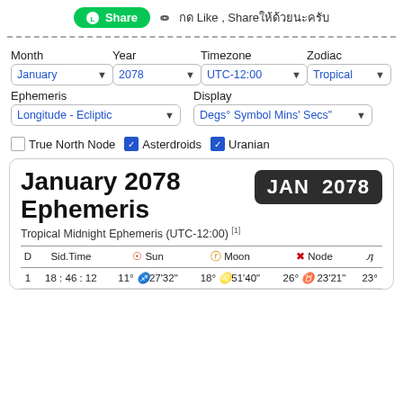[Figure (screenshot): LINE Share button (green pill) with chain link icon and Thai text 'กด Like, Shareให้ด้วยนะครับ']
Month   Year   Timezone   Zodiac
[Figure (screenshot): Form dropdowns: January, 2078, UTC-12:00, Tropical]
Ephemeris   Display
[Figure (screenshot): Form dropdowns: Longitude - Ecliptic, Degs° Symbol Mins' Secs"]
True North Node  Asterdroids  Uranian (checkboxes)
January 2078 Ephemeris
Tropical Midnight Ephemeris (UTC-12:00) [1]
| D | Sid.Time | ☉ Sun | ☽ Moon | Ω Node | ζ |
| --- | --- | --- | --- | --- | --- |
| 1 | 18:46:12 | 11° ♐27'32" | 18° ♌51'40" | 26° ♉ 23'21" | 23° |